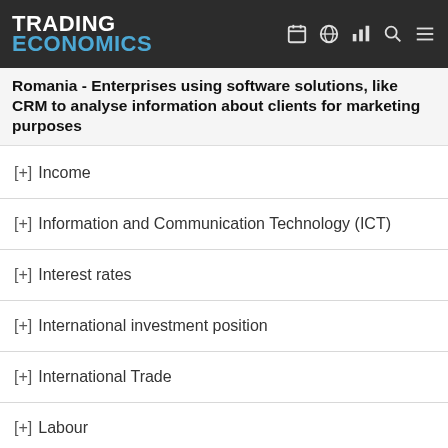TRADING ECONOMICS
Romania - Enterprises using software solutions, like CRM to analyse information about clients for marketing purposes
[+] Income
[+] Information and Communication Technology (ICT)
[+] Interest rates
[+] International investment position
[+] International Trade
[+] Labour
[+] Livestock and meat
[+] Macroeconomic imbalance procedure indicators
[+] National accounts